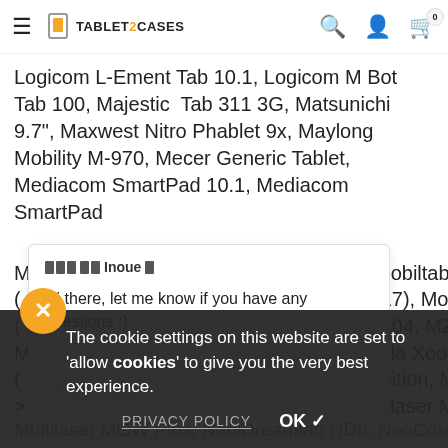TABLET2CASES
Logicom L-Ement Tab 10.1, Logicom M Bot Tab 100, Majestic Tab 311 3G, Matsunichi 9.7", Maxwest Nitro Phablet 9x, Maylong Mobility M-970, Mecer Generic Tablet, Mediacom SmartPad 10.1, Mediacom SmartPad ... obiltab Sleek, ... 17), Motorola Xoom ... 604, MZ605, MZ606), ... la Xoom 2 3G ... dition, Motorola ... ilaser M10A, ... ab HD8, NeoCore N1, ... PRIVACY POLICY. OK
[Figure (screenshot): Gorgias chat popup with message 'Hi there, let me know if you have any questions :)']
The cookie settings on this website are set to 'allow cookies' to give you the very best experience.
PRIVACY POLICY   OK ✓